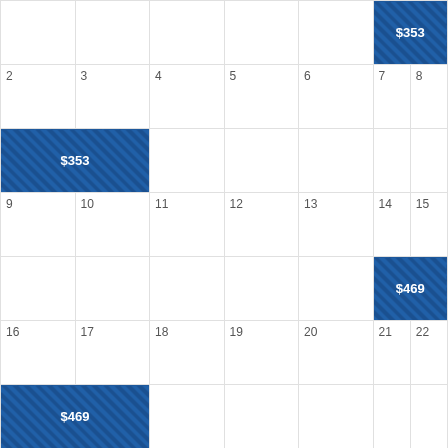|  |  |  |  |  | $353 |  |
| 2 | 3 | 4 | 5 | 6 | 7 | 8 |
| $353 |  |  |  |  |  |  |
| 9 | 10 | 11 | 12 | 13 | 14 | 15 |
|  |  |  |  |  | $469 |  |
| 16 | 17 | 18 | 19 | 20 | 21 | 22 |
| $469 |  |  |  |  |  |  |
Connecting Flights vs Direct Flights from Cleveland to Sarasota